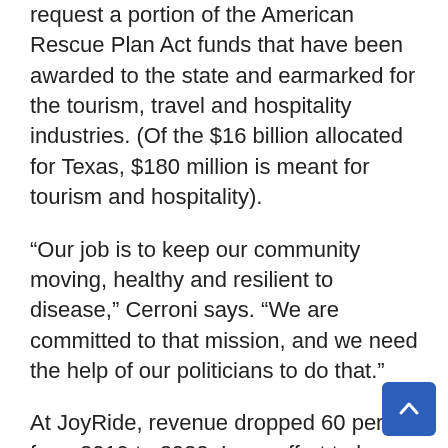request a portion of the American Rescue Plan Act funds that have been awarded to the state and earmarked for the tourism, travel and hospitality industries. (Of the $16 billion allocated for Texas, $180 million is meant for tourism and hospitality).
“Our job is to keep our community moving, healthy and resilient to disease,” Cerroni says. “We are committed to that mission, and we need the help of our politicians to do that.”
At JoyRide, revenue dropped 60 percent from 2019 to 2022. In an effort to keep the doors open, employee pay and hours were cut. Today, the company employs 20 San Antonians, a 30 percent reduction from 2019. And they’re not the only ones feeling the sting